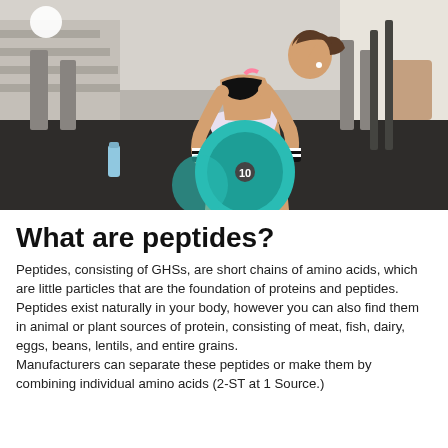[Figure (photo): A woman in athletic wear (sports bra and patterned shorts) in a gym, performing a deadlift with a teal/green barbell plate. The gym background shows exercise equipment and bright windows.]
What are peptides?
Peptides, consisting of GHSs, are short chains of amino acids, which are little particles that are the foundation of proteins and peptides.
Peptides exist naturally in your body, however you can also find them in animal or plant sources of protein, consisting of meat, fish, dairy, eggs, beans, lentils, and entire grains.
Manufacturers can separate these peptides or make them by combining individual amino acids (2-ST at 1 Source.)